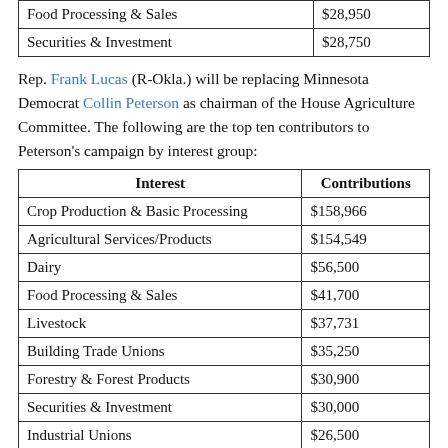| Interest | Contributions |
| --- | --- |
| Food Processing & Sales | $28,950 |
| Securities & Investment | $28,750 |
Rep. Frank Lucas (R-Okla.) will be replacing Minnesota Democrat Collin Peterson as chairman of the House Agriculture Committee. The following are the top ten contributors to Peterson's campaign by interest group:
| Interest | Contributions |
| --- | --- |
| Crop Production & Basic Processing | $158,966 |
| Agricultural Services/Products | $154,549 |
| Dairy | $56,500 |
| Food Processing & Sales | $41,700 |
| Livestock | $37,731 |
| Building Trade Unions | $35,250 |
| Forestry & Forest Products | $30,900 |
| Securities & Investment | $30,000 |
| Industrial Unions | $26,500 |
| Electric Utilities | $25,250 |